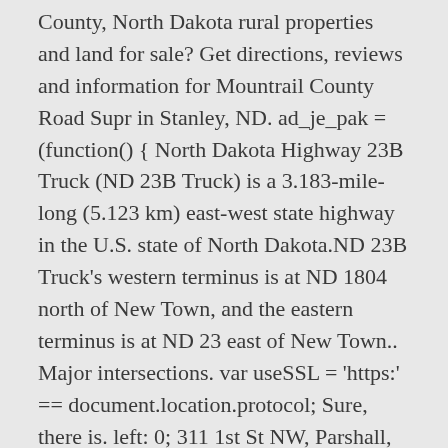County, North Dakota rural properties and land for sale? Get directions, reviews and information for Mountrail County Road Supr in Stanley, ND. ad_je_pak = (function() { North Dakota Highway 23B Truck (ND 23B Truck) is a 3.183-mile-long (5.123 km) east-west state highway in the U.S. state of North Dakota.ND 23B Truck's western terminus is at ND 1804 north of New Town, and the eastern terminus is at ND 23 east of New Town.. Major intersections. var useSSL = 'https:' == document.location.protocol; Sure, there is. left: 0; 311 1st St NW, Parshall, ND 58770. Switch to a Google Earth view for the detailed virtual globe and 3D buildings in many major cities